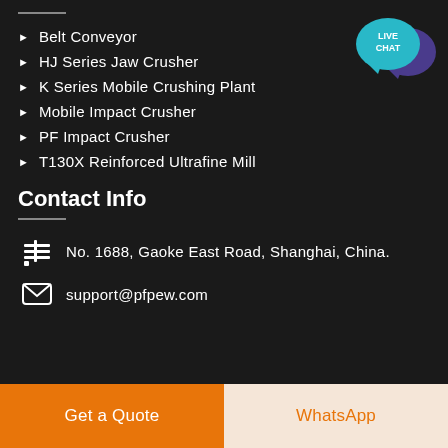Belt Conveyor
HJ Series Jaw Crusher
K Series Mobile Crushing Plant
Mobile Impact Crusher
PF Impact Crusher
T130X Reinforced Ultrafine Mill
Contact Info
No. 1688, Gaoke East Road, Shanghai, China.
support@pfpew.com
Get a Quote
WhatsApp